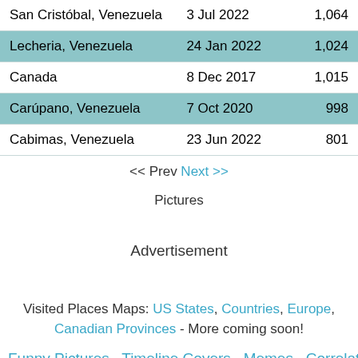| Location | Date | Count |
| --- | --- | --- |
| San Cristóbal, Venezuela | 3 Jul 2022 | 1,064 |
| Lecheria, Venezuela | 24 Jan 2022 | 1,024 |
| Canada | 8 Dec 2017 | 1,015 |
| Carúpano, Venezuela | 7 Oct 2020 | 998 |
| Cabimas, Venezuela | 23 Jun 2022 | 801 |
<< Prev  Next >>
Pictures
Advertisement
Visited Places Maps: US States, Countries, Europe, Canadian Provinces - More coming soon!
Funny Pictures · Timeline Covers · Memes · Correlatr
FAQ · Terms & Copyright © 2006-2022 Funky Llama Productions, LLC. All Rights Reserved. Privacy · Contact Us